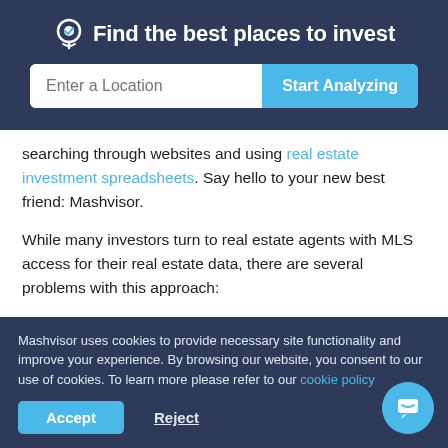[Figure (screenshot): Mashvisor website header with location search bar. Title: 'Find the best places to invest' with a location pin icon. Input field: 'Enter a Location'. Button: 'Start Analyzing' in blue.]
searching through websites and using real estate investment spreadsheets. Say hello to your new best friend: Mashvisor.
While many investors turn to real estate agents with MLS access for their real estate data, there are several problems with this approach:
1. You will end up waiting on your agent to get back to
Mashvisor uses cookies to provide necessary site functionality and improve your experience. By browsing our website, you consent to our use of cookies. To learn more please refer to our cookie policy
Accept   Reject